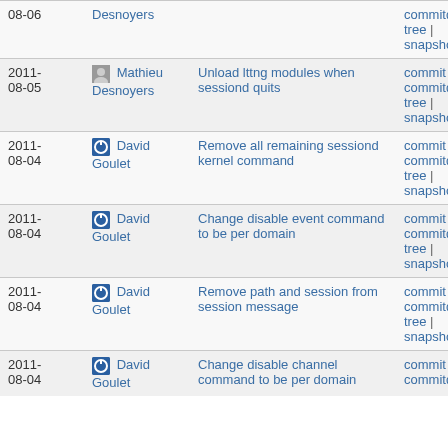| Date | Author | Message | Links |
| --- | --- | --- | --- |
| 2011-08-06 | Desnoyers |  | commitdiff | tree | snapshot |
| 2011-08-05 | Mathieu Desnoyers | Unload lttng modules when sessiond quits | commit | commitdiff | tree | snapshot |
| 2011-08-04 | David Goulet | Remove all remaining sessiond kernel command | commit | commitdiff | tree | snapshot |
| 2011-08-04 | David Goulet | Change disable event command to be per domain | commit | commitdiff | tree | snapshot |
| 2011-08-04 | David Goulet | Remove path and session from session message | commit | commitdiff | tree | snapshot |
| 2011-08-04 | David Goulet | Change disable channel command to be per domain | commit | commitdiff | |